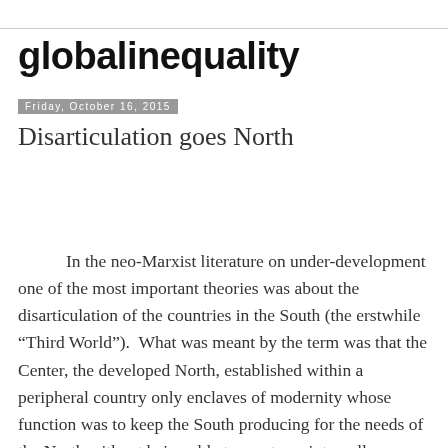globalinequality
Friday, October 16, 2015
Disarticulation goes North
In the neo-Marxist literature on under-development one of the most important theories was about the disarticulation of the countries in the South (the erstwhile “Third World”).  What was meant by the term was that the Center, the developed North, established within a peripheral country only enclaves of modernity whose function was to keep the South producing for the needs of the North without being able to create an internally connected production structure,